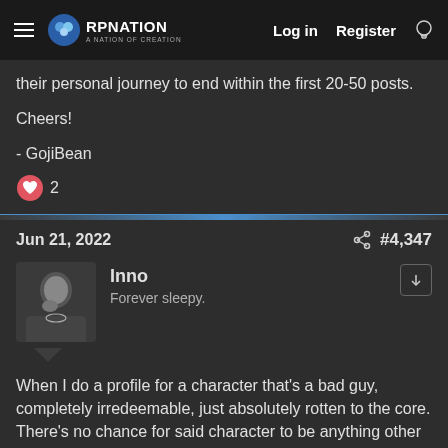RPNation — Log in | Register
their personal journey to end within the first 20-50 posts.
Cheers!
- GojiBean
❤ 2
Jun 21, 2022   #4,347
Inno
Forever sleepy.
When I do a profile for a character that's a bad guy, completely irredeemable, just absolutely rotten to the core. There's no chance for said character to be anything other than bad to the point where even I want my other